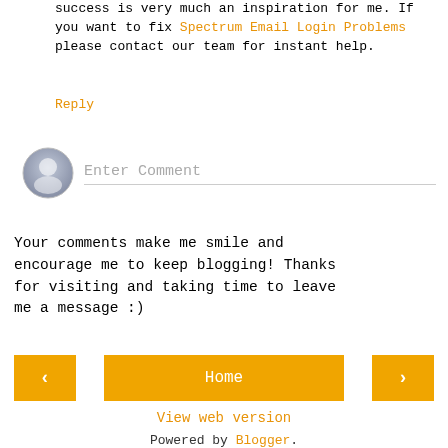success is very much an inspiration for me. If you want to fix Spectrum Email Login Problems please contact our team for instant help.
Reply
[Figure (illustration): User avatar icon — gray silhouette of a person in a circular frame, with an Enter Comment input field to the right]
Your comments make me smile and encourage me to keep blogging! Thanks for visiting and taking time to leave me a message :)
< Home >
View web version
Powered by Blogger.